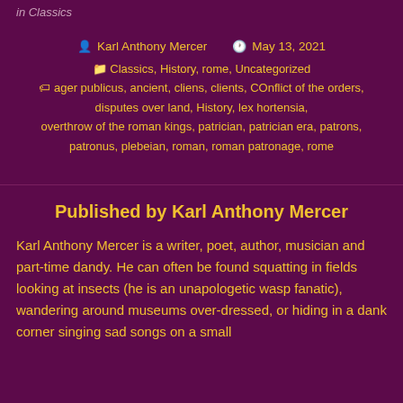in Classics
Karl Anthony Mercer   May 13, 2021
Classics, History, rome, Uncategorized
ager publicus, ancient, cliens, clients, COnflict of the orders, disputes over land, History, lex hortensia, overthrow of the roman kings, patrician, patrician era, patrons, patronus, plebeian, roman, roman patronage, rome
Published by Karl Anthony Mercer
Karl Anthony Mercer is a writer, poet, author, musician and part-time dandy. He can often be found squatting in fields looking at insects (he is an unapologetic wasp fanatic), wandering around museums over-dressed, or hiding in a dank corner singing sad songs on a small